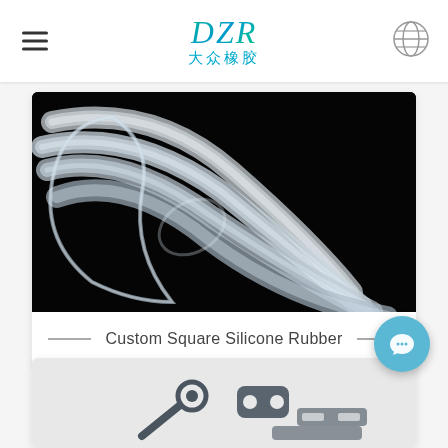DZR 大众橡胶
[Figure (photo): Close-up photo of translucent white silicone rubber tubes/strips crossing each other on a black background]
Custom Square Silicone Rubber
[Figure (photo): Close-up photo of small dark grey rubber parts including gaskets and a connector piece on a light background]